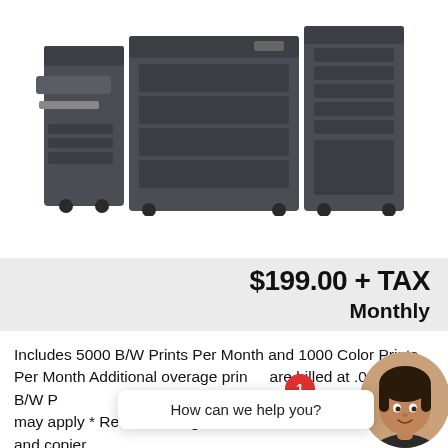[Figure (photo): Large commercial laser printer/copier system in dark gray, with multiple paper trays, finishing unit on the left, and paper output trays on top and right side.]
$199.00 + TAX
Monthly
Includes 5000 B/W Prints Per Month and 1000 Color Prints Per Month Additional overage prints are billed at .01c per B/W Print and .07c per color page. Other fees and restrictions may apply * Rental Package includes: Parts, service, toner and copier